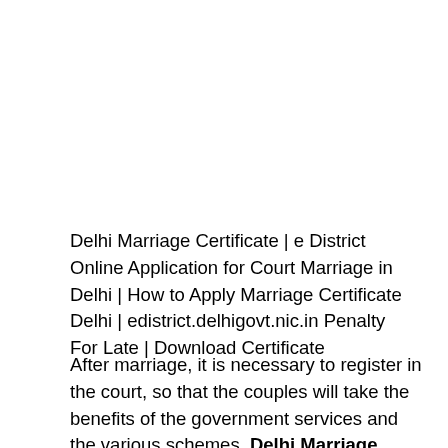Delhi Marriage Certificate | e District Online Application for Court Marriage in Delhi | How to Apply Marriage Certificate Delhi | edistrict.delhigovt.nic.in Penalty For Late | Download Certificate
After marriage, it is necessary to register in the court, so that the couples will take the benefits of the government services and the various schemes. Delhi Marriage Registration is the certificate that